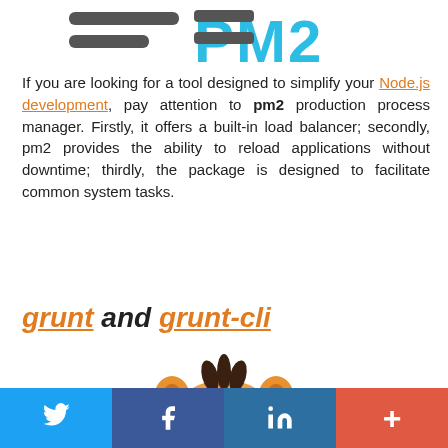[Figure (logo): PM2 logo with horizontal lines and text '=PM2' in dark gray and teal colors]
If you are looking for a tool designed to simplify your Node.js development, pay attention to pm2 production process manager. Firstly, it offers a built-in load balancer; secondly, pm2 provides the ability to reload applications without downtime; thirdly, the package is designed to facilitate common system tasks.
grunt and grunt-cli
[Figure (illustration): Grunt mascot logo — an orange angry bird/lion character with dark hair tuft]
Twitter | Facebook | LinkedIn | +